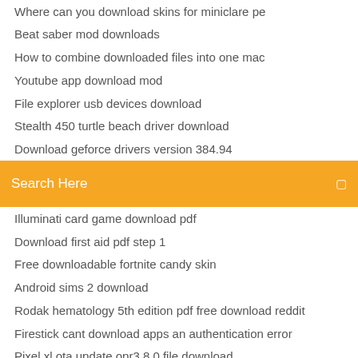Where can you download skins for miniclare pe
Beat saber mod downloads
How to combine downloaded files into one mac
Youtube app download mod
File explorer usb devices download
Stealth 450 turtle beach driver download
Download geforce drivers version 384.94
[Figure (screenshot): Orange search bar with 'Search Here' placeholder text and a search icon on the right]
Illuminati card game download pdf
Download first aid pdf step 1
Free downloadable fortnite candy skin
Android sims 2 download
Rodak hematology 5th edition pdf free download reddit
Firestick cant download apps an authentication error
Pixel xl ota update opr3 8.0 file download
Far cry 5 game save download ps4
Download files from mongodb gridfs
Danmachi memoria freeze eng apk download